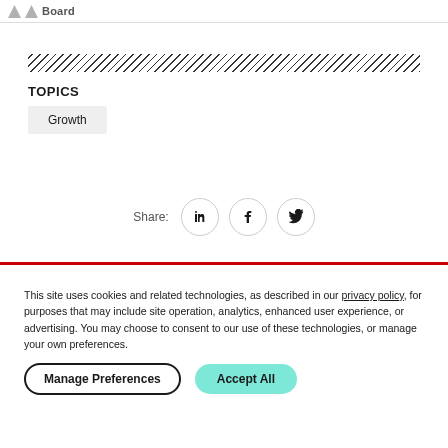Board
[Figure (other): Diagonal hatching pattern bar / decorative stripe]
TOPICS
Growth
Share:
[Figure (other): Social share icons: LinkedIn, Facebook, Twitter]
This site uses cookies and related technologies, as described in our privacy policy, for purposes that may include site operation, analytics, enhanced user experience, or advertising. You may choose to consent to our use of these technologies, or manage your own preferences.
Manage Preferences
Accept All